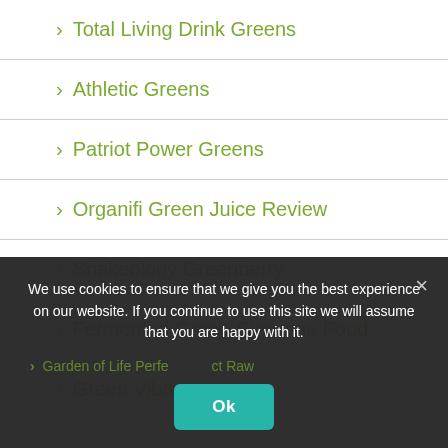Total Living Drink Greens
Athletic Greens
Patriot Power Greens
Organifi Green Juice Review
Shakeology Greenberry
Fermented Green Supreme Food
Green Vibrance
Garden of Life Perfect Raw
We use cookies to ensure that we give you the best experience on our website. If you continue to use this site we will assume that you are happy with it.